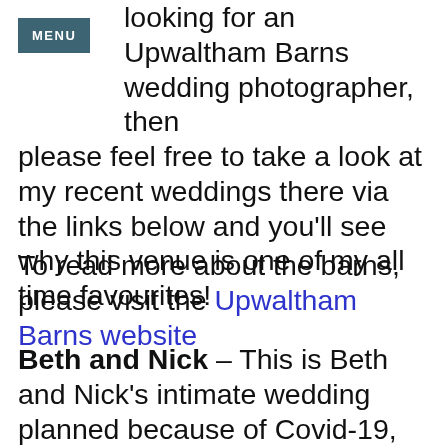MENU
looking for an Upwaltham Barns wedding photographer, then please feel free to take a look at my recent weddings there via the links below and you'll see why this venue is one of my all time favourites!
To read more about the barns, please visit the Upwaltham Barns website
Beth and Nick – This is Beth and Nick's intimate wedding planned because of Covid-19, with their main wedding planned at Upwaltham Barns in October 2021, as seen above in that gorgeous colourful shot. In just four hours we managed to capture many fun and lovely moments and harness the energy and excitement of the day. Here's a taster of their